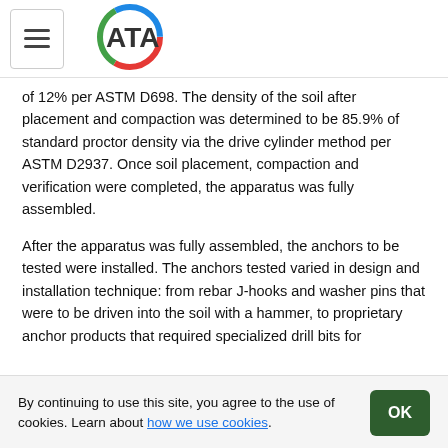ATA (logo with navigation)
of 12% per ASTM D698. The density of the soil after placement and compaction was determined to be 85.9% of standard proctor density via the drive cylinder method per ASTM D2937. Once soil placement, compaction and verification were completed, the apparatus was fully assembled.
After the apparatus was fully assembled, the anchors to be tested were installed. The anchors tested varied in design and installation technique: from rebar J-hooks and washer pins that were to be driven into the soil with a hammer, to proprietary anchor products that required specialized drill bits for installation. Once the anchors were installed, a custom plate was placed under the head of the anchor (if necessary to facilitate vertical pullout), and the pulley
By continuing to use this site, you agree to the use of cookies. Learn about how we use cookies.